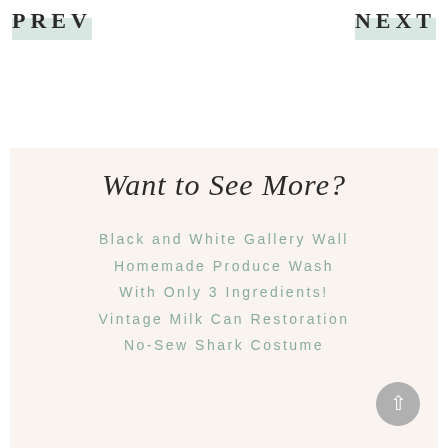PREV
NEXT
Want to See More?
Black and White Gallery Wall
Homemade Produce Wash With Only 3 Ingredients!
Vintage Milk Can Restoration
No-Sew Shark Costume